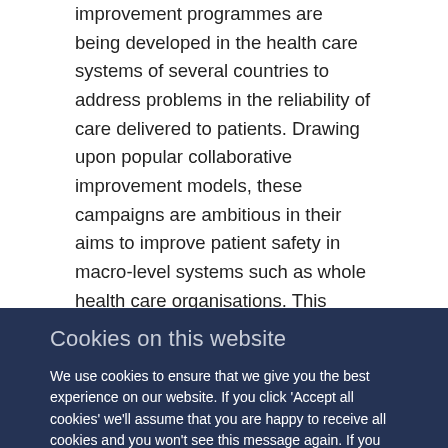improvement programmes are being developed in the health care systems of several countries to address problems in the reliability of care delivered to patients. Drawing upon popular collaborative improvement models, these campaigns are ambitious in their aims to improve patient safety in macro-level systems such as whole health care organisations. This article considers the methodological issues involved in conducting research and evaluation of these programmes. Several specific research challenges are outlined, which result from the complexity of longitudinal, multi-level intervention programmes and the variable, highly sociotechnical care systems, with which they interact. Organisational-level improvement programmes are often underspecified due to
Cookies on this website
We use cookies to ensure that we give you the best experience on our website. If you click 'Accept all cookies' we'll assume that you are happy to receive all cookies and you won't see this message again. If you click 'Reject all